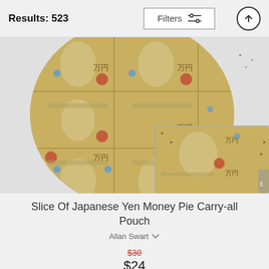Results: 523
[Figure (photo): Product image showing a circular pouch with Japanese Yen money print, alongside a folded rectangular view of the same design, on a grey background.]
Slice Of Japanese Yen Money Pie Carry-all Pouch
Allan Swart
$30 $24